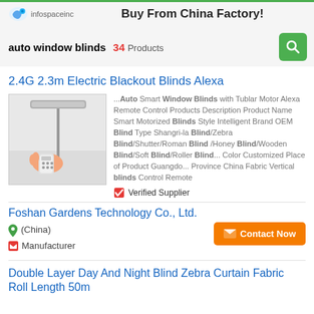Buy From China Factory!
auto window blinds 34 Products
2.4G 2.3m Electric Blackout Blinds Alexa
[Figure (photo): Hand holding a remote control for motorized window blinds]
...Auto Smart Window Blinds with Tublar Motor Alexa Remote Control Products Description Product Name Smart Motorized Blinds Style Intelligent Brand OEM Blind Type Shangri-la Blind/Zebra Blind/Shutter/Roman Blind /Honey Blind/Wooden Blind/Soft Blind/Roller Blind... Color Customized Place of Product Guangdo... Province China Fabric Vertical blinds Control Remote
Verified Supplier
Foshan Gardens Technology Co., Ltd.
(China)
Manufacturer
Contact Now
Double Layer Day And Night Blind Zebra Curtain Fabric Roll Length 50m